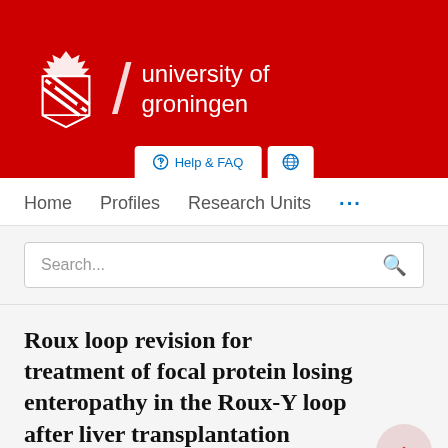[Figure (logo): University of Groningen logo with red background, university crest, slash divider, and white text reading 'university of groningen']
[Figure (other): Help & FAQ button and globe icon button at bottom of red banner]
Home   Profiles   Research Units   ...
Search...
Roux loop revision for treatment of focal protein losing enteropathy in the Roux-Y loop after liver transplantation
Bert Holvast, F.A.I.A. Bodewes, R.H.J. De Kleine, R.J....